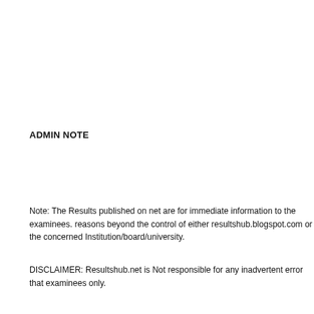ADMIN NOTE
Note: The Results published on net are for immediate information to the examinees. reasons beyond the control of either resultshub.blogspot.com or the concerned Institution/board/university.
DISCLAIMER: Resultshub.net is Not responsible for any inadvertent error that examinees only.